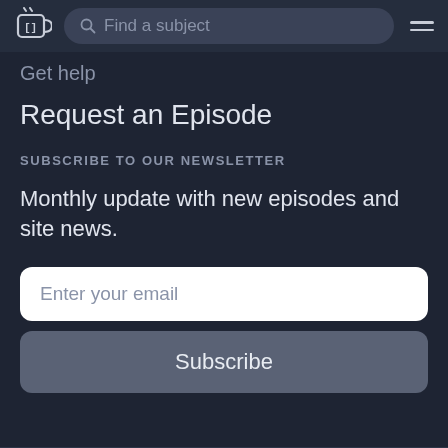[Figure (screenshot): Navigation bar with a podcast/coffee logo icon, a search field labeled 'Find a subject', and a hamburger menu icon]
Get help
Request an Episode
SUBSCRIBE TO OUR NEWSLETTER
Monthly update with new episodes and site news.
Enter your email
Subscribe